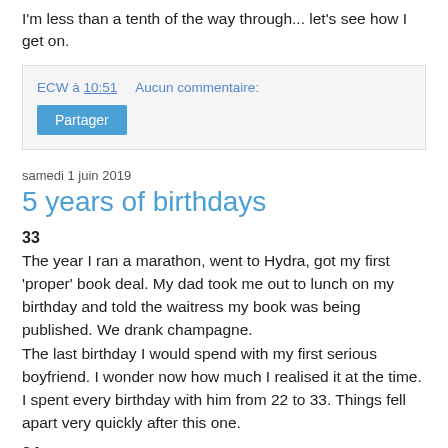I'm less than a tenth of the way through... let's see how I get on.
ECW à 10:51    Aucun commentaire:
Partager
samedi 1 juin 2019
5 years of birthdays
33
The year I ran a marathon, went to Hydra, got my first 'proper' book deal. My dad took me out to lunch on my birthday and told the waitress my book was being published. We drank champagne.
The last birthday I would spend with my first serious boyfriend. I wonder now how much I realised it at the time. I spent every birthday with him from 22 to 33. Things fell apart very quickly after this one.
34